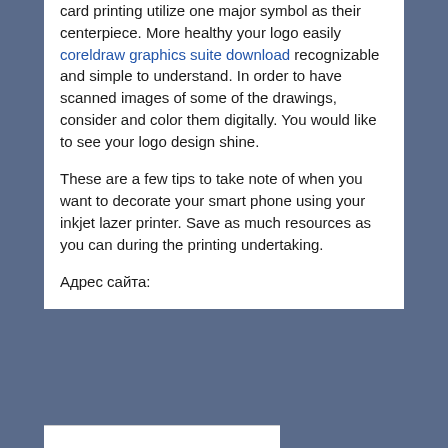card printing utilize one major symbol as their centerpiece. More healthy your logo easily coreldraw graphics suite download recognizable and simple to understand. In order to have scanned images of some of the drawings, consider and color them digitally. You would like to see your logo design shine.
These are a few tips to take note of when you want to decorate your smart phone using your inkjet lazer printer. Save as much resources as you can during the printing undertaking.
Адрес сайта: